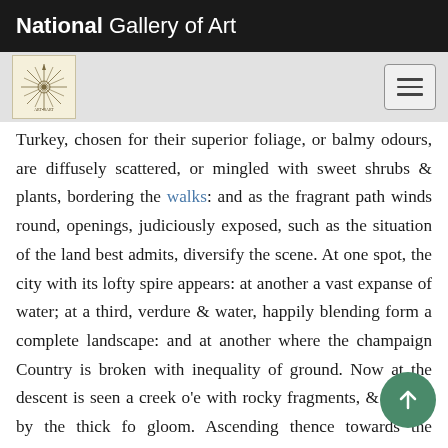National Gallery of Art
[Figure (logo): National Gallery of Art starburst/compass rose logo on cream background]
Turkey, chosen for their superior foliage, or balmy odours, are diffusely scattered, or mingled with sweet shrubs & plants, bordering the walks: and as the fragrant path winds round, openings, judiciously exposed, such as the situation of the land best admits, diversify the scene. At one spot, the city with its lofty spire appears: at another a vast expanse of water; at a third, verdure & water, happily blending form a complete landscape: and at another where the champaign Country is broken with inequality of ground. Now at the descent is seen a creek o'e with rocky fragments, & shaded by the thick fo gloom. Ascending thence towards the Western side of